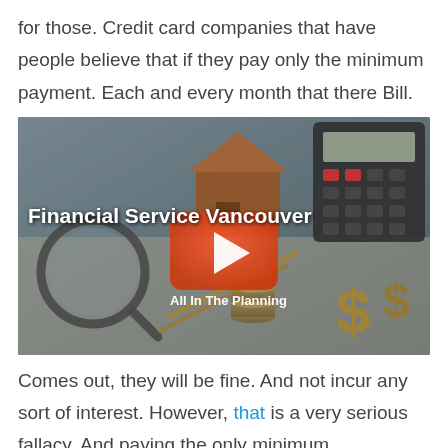for those. Credit card companies that have people believe that if they pay only the minimum payment. Each and every month that there Bill.
[Figure (screenshot): YouTube-style video thumbnail showing financial items (calculator, coins, dollar signs, house model, magnifying glass) with title 'Financial Service Vancouver' and subtitle 'All In The Planning' with a red play button overlay.]
Comes out, they will be fine. And not incur any sort of interest. However, that is a very serious fallacy. And paying the only minimum